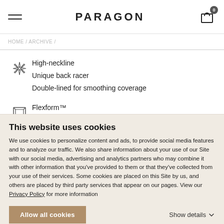PARAGON
High-neckline
Unique back racer
Double-lined for smoothing coverage
Flexform™
75% recycled nylon, 25% Lycra®
14" long
This website uses cookies
We use cookies to personalize content and ads, to provide social media features and to analyze our traffic. We also share information about your use of our Site with our social media, advertising and analytics partners who may combine it with other information that you've provided to them or that they've collected from your use of their services. Some cookies are placed on this Site by us, and others are placed by third party services that appear on our pages. View our Privacy Policy for more information
Allow all cookies
Show details